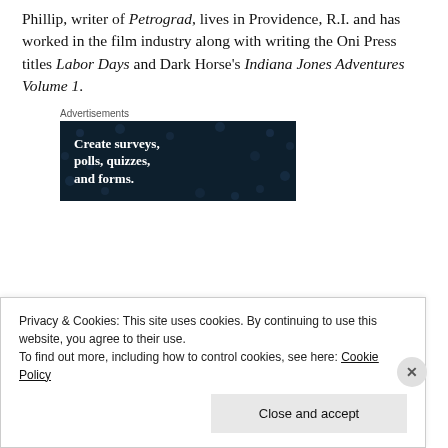Phillip, writer of Petrograd, lives in Providence, R.I. and has worked in the film industry along with writing the Oni Press titles Labor Days and Dark Horse's Indiana Jones Adventures Volume 1.
Advertisements
[Figure (other): Dark navy advertisement banner with dot pattern background. Text reads: Create surveys, polls, quizzes, and forms.]
Privacy & Cookies: This site uses cookies. By continuing to use this website, you agree to their use.
To find out more, including how to control cookies, see here: Cookie Policy